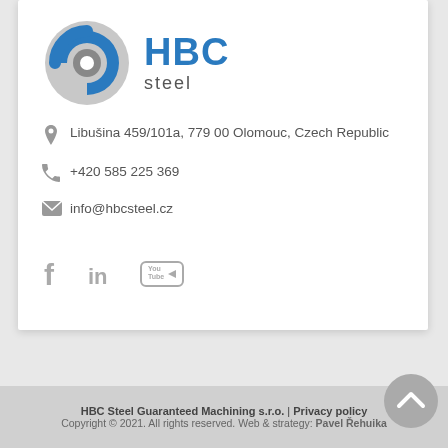[Figure (logo): HBC Steel logo: circular blue and grey coil icon on the left, 'HBC' in large bold blue text and 'steel' in smaller grey text on the right]
Libušina 459/101a, 779 00 Olomouc, Czech Republic
+420 585 225 369
info@hbcsteel.cz
[Figure (illustration): Social media icons: Facebook (f), LinkedIn (in), YouTube (play button logo)]
HBC Steel Guaranteed Machining s.r.o. | Privacy policy
Copyright © 2021. All rights reserved. Web & strategy: Pavel Řehuika